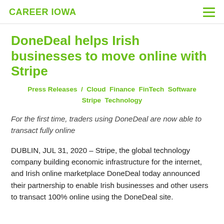CAREER IOWA
DoneDeal helps Irish businesses to move online with Stripe
Press Releases / Cloud Finance FinTech Software Stripe Technology
For the first time, traders using DoneDeal are now able to transact fully online
DUBLIN, JUL 31, 2020 – Stripe, the global technology company building economic infrastructure for the internet, and Irish online marketplace DoneDeal today announced their partnership to enable Irish businesses and other users to transact 100% online using the DoneDeal site.